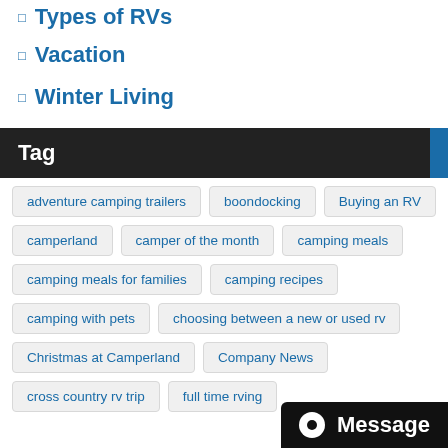Types of RVs
Vacation
Winter Living
Tag
adventure camping trailers
boondocking
Buying an RV
camperland
camper of the month
camping meals
camping meals for families
camping recipes
camping with pets
choosing between a new or used rv
Christmas at Camperland
Company News
cross country rv trip
full time rving
Message